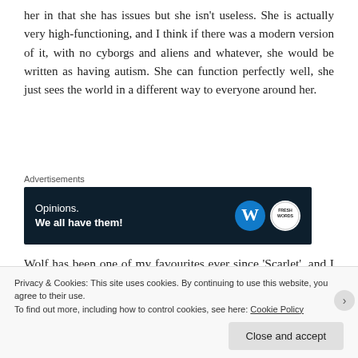her in that she has issues but she isn't useless. She is actually very high-functioning, and I think if there was a modern version of it, with no cyborgs and aliens and whatever, she would be written as having autism. She can function perfectly well, she just sees the world in a different way to everyone around her.
Advertisements
[Figure (other): Dark navy advertisement banner reading 'Opinions. We all have them!' with WordPress logo and Fresh Words logo on the right.]
Wolf has been one of my favourites ever since 'Scarlet', and I am brimming over with ideas for fluffy fanfics with him and
Privacy & Cookies: This site uses cookies. By continuing to use this website, you agree to their use.
To find out more, including how to control cookies, see here: Cookie Policy